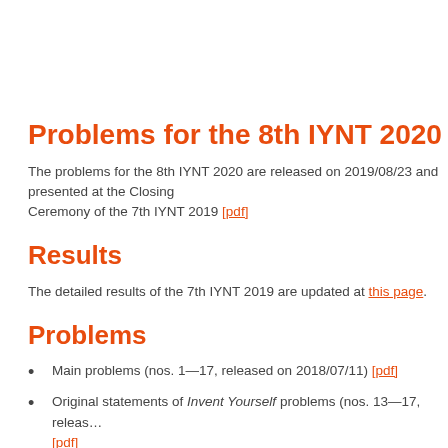Problems for the 8th IYNT 2020
The problems for the 8th IYNT 2020 are released on 2019/08/23 and presented at the Closing Ceremony of the 7th IYNT 2019 [pdf]
Results
The detailed results of the 7th IYNT 2019 are updated at this page.
Problems
Main problems (nos. 1—17, released on 2018/07/11) [pdf]
Original statements of Invent Yourself problems (nos. 13—17, releas... [pdf]
Additional problems (nos. 21—26, released on 2019/08/21) [pdf]
Problems for Captain's Contests in Science Fight 4 (released on 201...